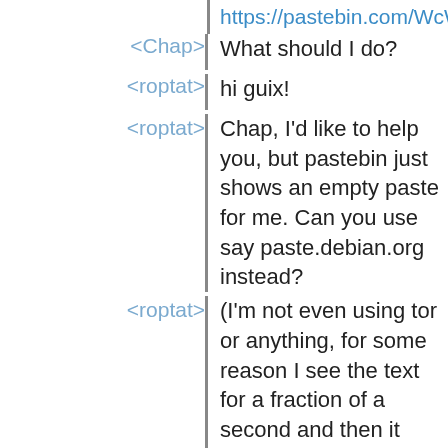https://pastebin.com/WcWD4Uaf
<Chap> What should I do?
<roptat> hi guix!
<roptat> Chap, I'd like to help you, but pastebin just shows an empty paste for me. Can you use say paste.debian.org instead?
<roptat> (I'm not even using tor or anything, for some reason I see the text for a fraction of a second and then it disappears)
<apteryx> it seems linking with